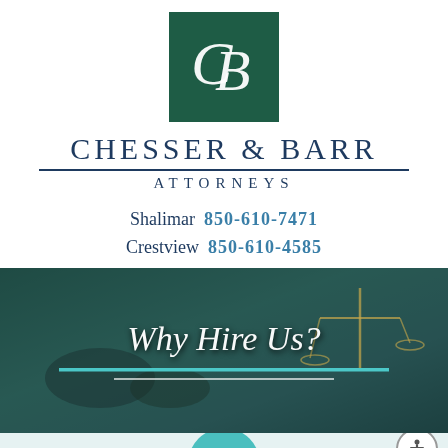[Figure (logo): Chesser & Barr law firm logo — dark green square with interlocked C and B letters in white script]
CHESSER & BARR
ATTORNEYS
Shalimar  850-610-7471
Crestview  850-610-4585
[Figure (photo): Dark teal-toned photo of lawyers at a table with scales of justice, overlaid with 'Why Hire Us?' heading text]
Why Hire Us?
Why Hire  Okaloosa